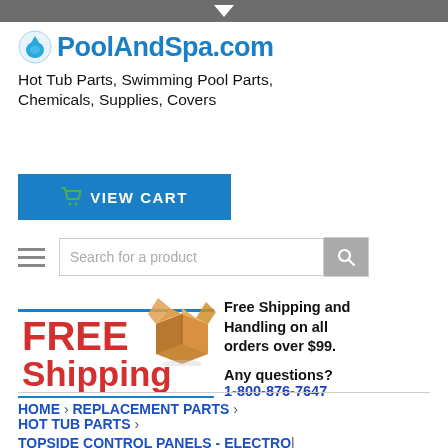[Figure (logo): PoolAndSpa.com logo with water droplet icon and blue bold text]
Hot Tub Parts, Swimming Pool Parts, Chemicals, Supplies, Covers
[Figure (other): VIEW CART button in blue with green shopping cart icon]
[Figure (other): Search bar with hamburger menu icon on left and magnifying glass button on right, placeholder text: Search for a product]
[Figure (other): Free Shipping and Handling banner with cardboard box illustration and red FREE Shipping text]
Free Shipping and Handling on all orders over $99.

Any questions?
1-800-876-7647
HOME › REPLACEMENT PARTS ›
HOT TUB PARTS ›
TOPSIDE CONTROL PANELS - ELECTRO...